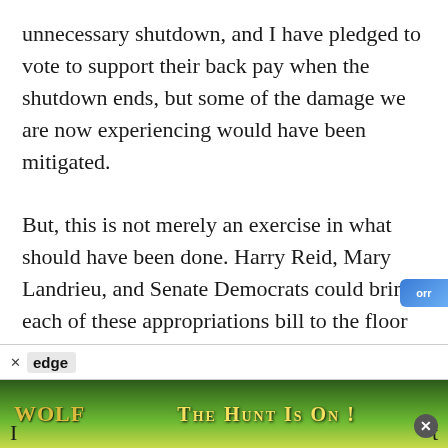unnecessary shutdown, and I have pledged to vote to support their back pay when the shutdown ends, but some of the damage we are now experiencing would have been mitigated.

But, this is not merely an exercise in what should have been done. Harry Reid, Mary Landrieu, and Senate Democrats could bring each of these appropriations bill to the floor today and immediately send thousands of people back to work. Instead, they refuse to talk and refuse to act, choosing once again to manipulate a crisis for political gain.
[Figure (screenshot): Advertisement banner showing 'edge' brand with an X close button, followed by an image strip with wolf/cat imagery and text 'THE HUNT IS ON!' with a close button circle. Partial characters 'I' and 't' visible at bottom edges.]